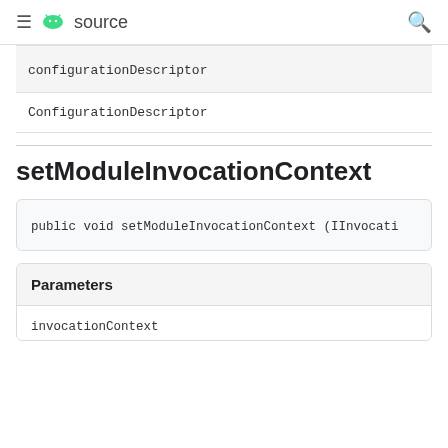≡ android source 🔍
configurationDescriptor
ConfigurationDescriptor
setModuleInvocationContext
public void setModuleInvocationContext (IInvocati
Parameters
invocationContext